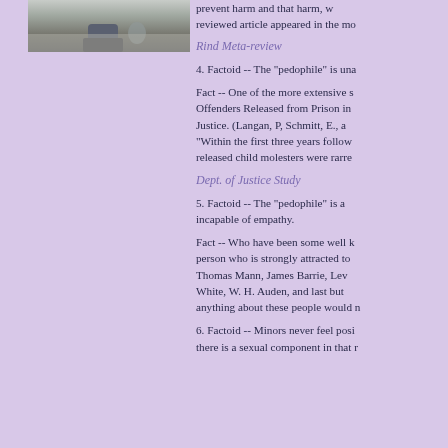[Figure (photo): Partial photo showing ground/pavement with a small object, appears to be bottom portion of a person or item near pavement]
prevent harm and that harm, reviewed article appeared in the mo
Rind Meta-review
4. Factoid -- The "pedophile" is una
Fact -- One of the more extensive studies, Offenders Released from Prison in Justice. (Langan, P, Schmitt, E., "Within the first three years follow released child molesters were rarre
Dept. of Justice Study
5. Factoid -- The "pedophile" is a incapable of empathy.
Fact -- Who have been some well person who is strongly attracted to Thomas Mann, James Barrie, Lev White, W. H. Auden, and last but anything about these people would n
6. Factoid -- Minors never feel posi there is a sexual component in that r